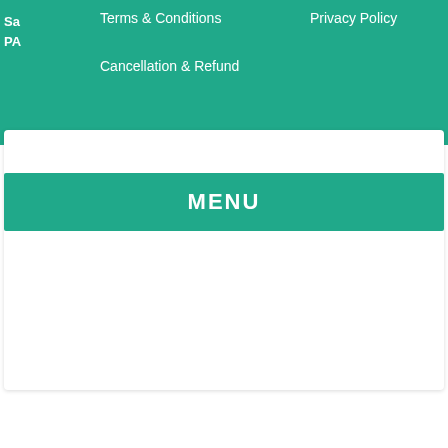Sa... PA...
Terms & Conditions
Privacy Policy
Cancellation & Refund
MENU